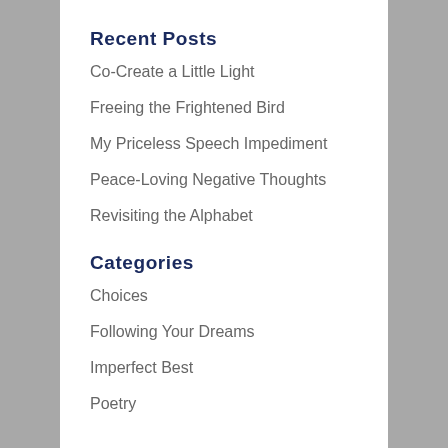Recent Posts
Co-Create a Little Light
Freeing the Frightened Bird
My Priceless Speech Impediment
Peace-Loving Negative Thoughts
Revisiting the Alphabet
Categories
Choices
Following Your Dreams
Imperfect Best
Poetry